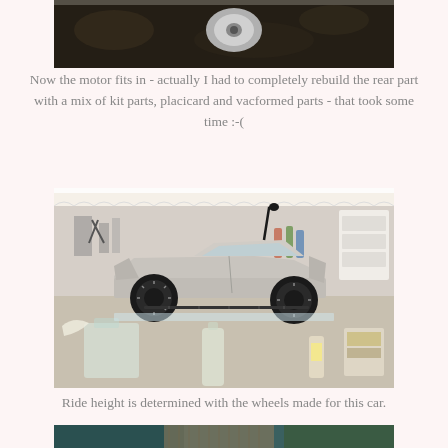[Figure (photo): Top portion of a photo showing soil/dark surface with a metal bolt or washer visible, partially cropped at top of page]
Now the motor fits in - actually I had to completely rebuild the rear part with a mix of kit parts, placicard and vacformed parts - that took some time :-(
[Figure (photo): Side view of a grey 1957 Chevy scale model car with black wheels, sitting on a workbench in a hobby workshop with various supplies visible in background]
Ride height is determined with the wheels made for this car.
[Figure (photo): Bottom portion of a photo showing a wicker basket and blue/teal fabric, partially cropped at bottom of page]